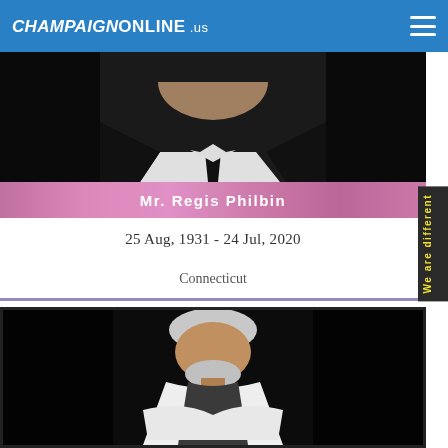CHAMPAIGNONLINE.us
[Figure (photo): Top photo of a man in dark suit and tie against dark background, partially cropped showing lower face, collar, and jacket.]
Mr. Regis Philbin
25 Aug, 1931 - 24 Jul, 2020
Connecticut
[Figure (photo): Photo of a man with white/silver hair and beard, wearing a white shirt and dark vest, posed with arms crossed against a black background.]
We are different